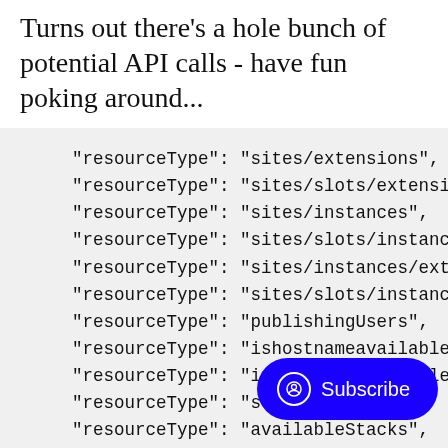Turns out there's a hole bunch of potential API calls - have fun poking around...
[Figure (screenshot): Code block on light gray background showing multiple lines of JSON-like resourceType key-value pairs including sites/extensions, sites/slots/extensions, sites/instances, sites/slots/instances, sites/instances/extensions, sites/slots/instances, publishingUsers, ishostnameavailable, isusernameavailable, sourceControls, availableStacks, listSitesAssignedToHostName (truncated), and sites/slots/hostName entries, with a blue Subscribe button overlay in the bottom right]